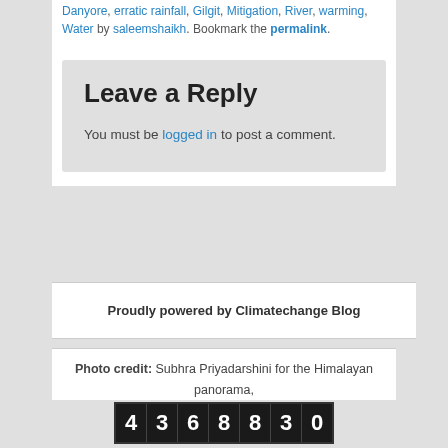Danyore, erratic rainfall, Gilgit, Mitigation, River, warming, Water by saleemshaikh. Bookmark the permalink.
Leave a Reply
You must be logged in to post a comment.
Proudly powered by Climatechange Blog
Photo credit: Subhra Priyadarshini for the Himalayan panorama, women in Thar desert and boatman in Chilika. S. Gopikrishna Warrier for the Kerala beach, fresh water lake and paddy fields in Nepal.
[Figure (other): Visitor counter showing the number 436830]